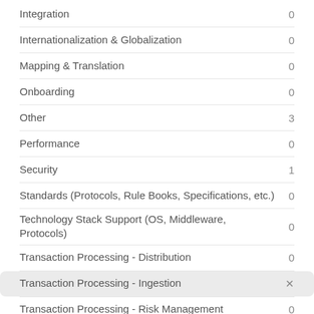Integration  0
Internationalization & Globalization  0
Mapping & Translation  0
Onboarding  0
Other  3
Performance  0
Security  1
Standards (Protocols, Rule Books, Specifications, etc.)  0
Technology Stack Support (OS, Middleware, Protocols)  0
Transaction Processing - Distribution  0
Transaction Processing - Ingestion  ×
Transaction Processing - Risk Management  0